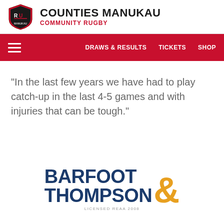COUNTIES MANUKAU COMMUNITY RUGBY
"In the last few years we have had to play catch-up in the last 4-5 games and with injuries that can be tough."
[Figure (logo): Barfoot & Thompson sponsor logo with navy blue text and gold ampersand, with 'Licensed REAA 2008' tagline]